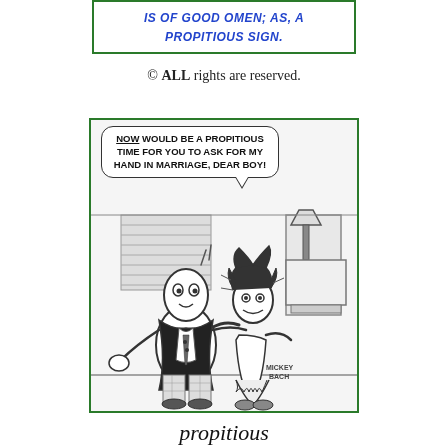IS OF GOOD OMEN; AS, A PROPITIOUS SIGN.
© ALL rights are reserved.
[Figure (illustration): Comic strip cartoon by Mickey Bach showing a disheveled woman grabbing a frightened man's arm, with a speech bubble reading: 'NOW WOULD BE A PROPITIOUS TIME FOR YOU TO ASK FOR MY HAND IN MARRIAGE, DEAR BOY!' A lamp is visible in the background.]
propitious